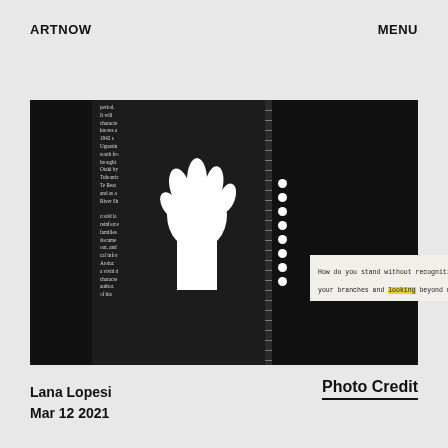ARTNOW    MENU
[Figure (photo): Composite artwork image: left black panel, center panel with text from a historical document and a white gloved hand, a vertical strip of white dots on dark background, and right large dark panel with a quote box reading 'How do you stand without recognition, smiling in your branches and looking beyond my shoulder?' with the word 'looking' highlighted in yellow.]
Photo Credit
Lana Lopesi
Mar 12 2021